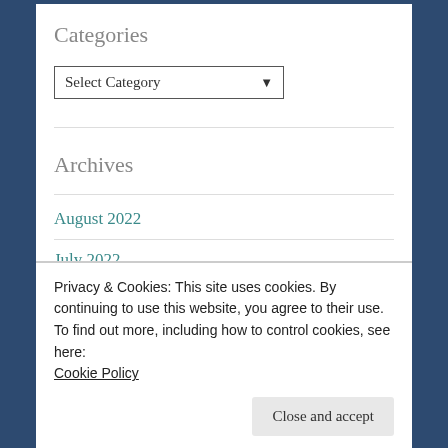Categories
Select Category
Archives
August 2022
July 2022
Privacy & Cookies: This site uses cookies. By continuing to use this website, you agree to their use.
To find out more, including how to control cookies, see here:
Cookie Policy
Close and accept